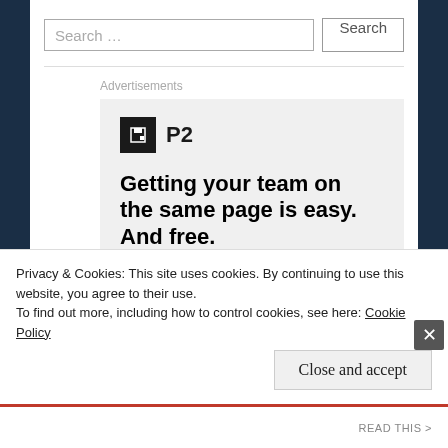Search …
[Figure (infographic): P2 advertisement: logo with floppy disk icon and 'P2' text, headline 'Getting your team on the same page is easy. And free.' with a row of user avatar circles at the bottom (green, gray, gray, blue).]
Privacy & Cookies: This site uses cookies. By continuing to use this website, you agree to their use.
To find out more, including how to control cookies, see here: Cookie Policy
Close and accept